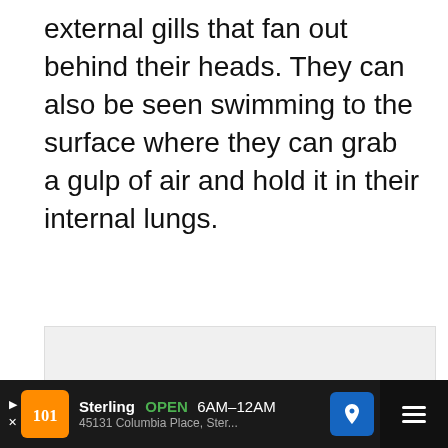external gills that fan out behind their heads. They can also be seen swimming to the surface where they can grab a gulp of air and hold it in their internal lungs.
[Figure (photo): Placeholder image area (light gray) with navigation dots at bottom, a like button (blue circle with heart icon), like count '3', and a share button below it.]
[Figure (other): WHAT'S NEXT card with thumbnail showing an axolotl illustration on a green background, labeled 'What Do Axolotls Eat?']
Sterling OPEN 6AM–12AM 45131 Columbia Place, Ster...